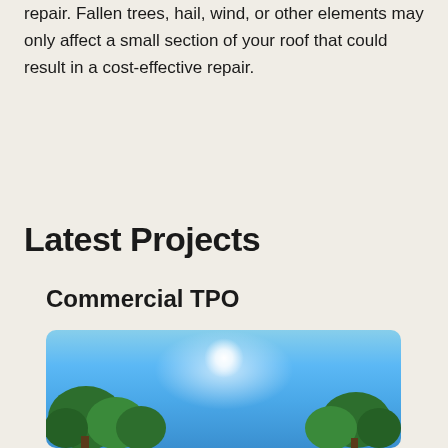repair. Fallen trees, hail, wind, or other elements may only affect a small section of your roof that could result in a cost-effective repair.
Latest Projects
Commercial TPO
[Figure (photo): Outdoor photo showing bright sunlight shining through blue sky with green trees in the foreground, viewed from below]